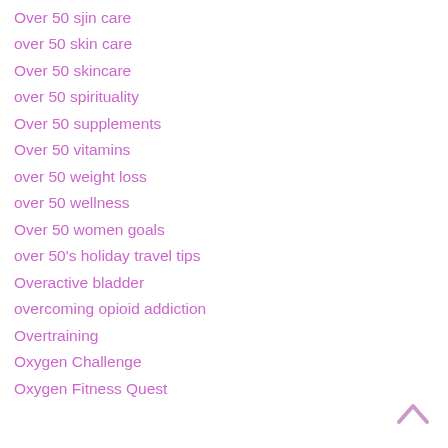Over 50 sjin care
over 50 skin care
Over 50 skincare
over 50 spirituality
Over 50 supplements
Over 50 vitamins
over 50 weight loss
over 50 wellness
Over 50 women goals
over 50's holiday travel tips
Overactive bladder
overcoming opioid addiction
Overtraining
Oxygen Challenge
Oxygen Fitness Quest
[Figure (other): Back to top chevron arrow icon]